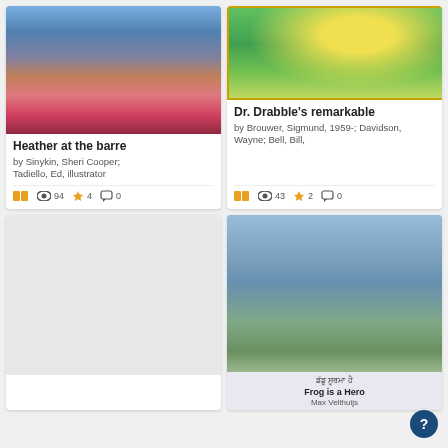[Figure (illustration): Book cover for 'Heather at the barre' showing a girl in a pink ballet dress dancing in front of a castle]
Heather at the barre
by Sinykin, Sheri Cooper; Tadiello, Ed, illustrator
94 views, 4 favorites, 0 comments
[Figure (illustration): Book cover for 'Dr. Drabble's remarkable' showing colorful fantasy animals and characters]
Dr. Drabble's remarkable
by Brouwer, Sigmund, 1959-; Davidson, Wayne; Bell, Bill,
43 views, 2 favorites, 0 comments
[Figure (illustration): Blank white card placeholder for a book]
[Figure (illustration): Book cover for 'Frog is a Hero' by Max Velthuijs showing a frog character, with Punjabi text above the English title]